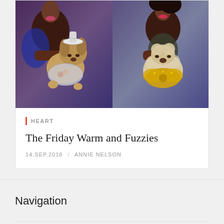[Figure (photo): Two women holding small dressed-up dogs at what appears to be a fashion event. Left dog wears a white hat and silver outfit, right dog wears a gold bow tie.]
HEART
The Friday Warm and Fuzzies
14.SEP.2018 / ANNIE NELSON
Navigation
Nutrition